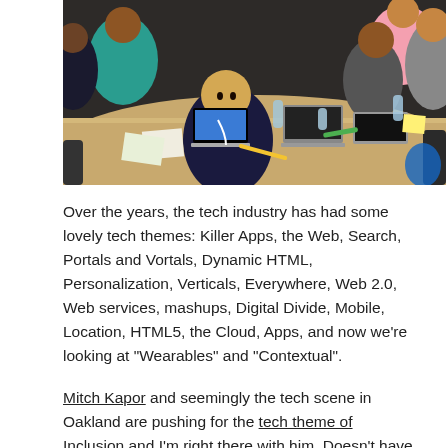[Figure (photo): A classroom scene with children and adults sitting around a table with laptops, papers, and water bottles. A young boy in a dark shirt is looking at the camera.]
Over the years, the tech industry has had some lovely tech themes: Killer Apps, the Web, Search, Portals and Vortals, Dynamic HTML, Personalization, Verticals, Everywhere, Web 2.0, Web services, mashups, Digital Divide, Mobile, Location, HTML5, the Cloud, Apps, and now we're looking at "Wearables" and "Contextual".
Mitch Kapor and seemingly the tech scene in Oakland are pushing for the tech theme of Inclusion and I'm right there with him. Doesn't have to replace our fascination